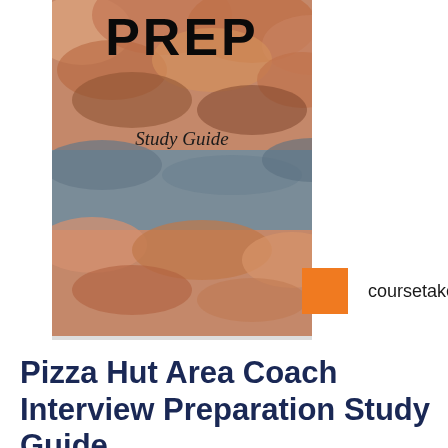[Figure (illustration): Book cover thumbnail showing 'PREP Study Guide' with a textured earth-tone background (orange, brown, grey hues) and the word PREP at the top in bold black letters, 'Study Guide' in italic serif text, and the coursetake logo (orange square + 'coursetake' text) on the right side.]
Pizza Hut Area Coach Interview Preparation Study Guide